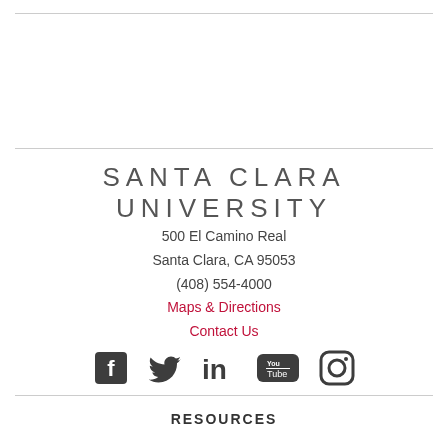SANTA CLARA UNIVERSITY
500 El Camino Real
Santa Clara, CA 95053
(408) 554-4000
Maps & Directions
Contact Us
[Figure (infographic): Social media icons: Facebook, Twitter, LinkedIn, YouTube, Instagram]
RESOURCES